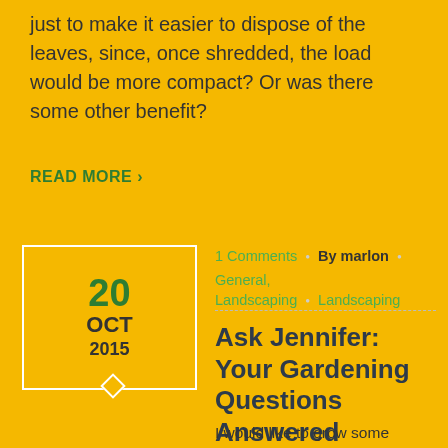just to make it easier to dispose of the leaves, since, once shredded, the load would be more compact? Or was there some other benefit?
READ MORE ›
20 OCT 2015
1 Comments • By marlon • General, Landscaping • Landscaping
Ask Jennifer: Your Gardening Questions Answered
I would like to grow some "barometer plants"